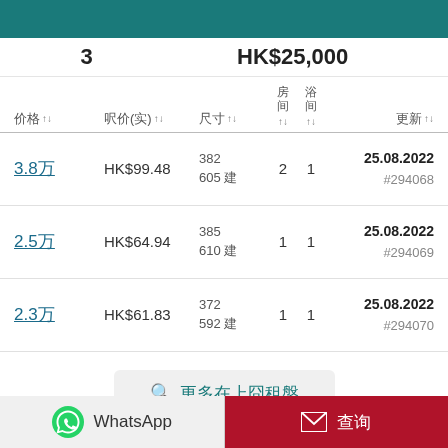3   HK$25,000
| 价格 | 呎价(实) | 尺寸 | 房间 | 浴间 | 更新 |
| --- | --- | --- | --- | --- | --- |
| 3.8万 | HK$99.48 | 382
605 建 | 2 | 1 | 25.08.2022
#294068 |
| 2.5万 | HK$64.94 | 385
610 建 | 1 | 1 | 25.08.2022
#294069 |
| 2.3万 | HK$61.83 | 372
592 建 | 1 | 1 | 25.08.2022
#294070 |
🔍 更多在上囧租盘
WhatsApp   查询